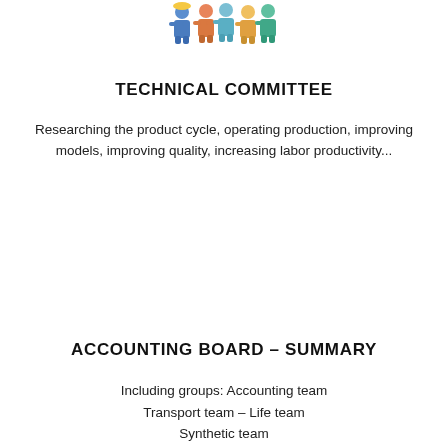[Figure (illustration): Illustration of people, a group scene with workers/team members in colorful clothing]
TECHNICAL COMMITTEE
Researching the product cycle, operating production, improving models, improving quality, increasing labor productivity...
ACCOUNTING BOARD – SUMMARY
Including groups: Accounting team
Transport team – Life team
Synthetic team